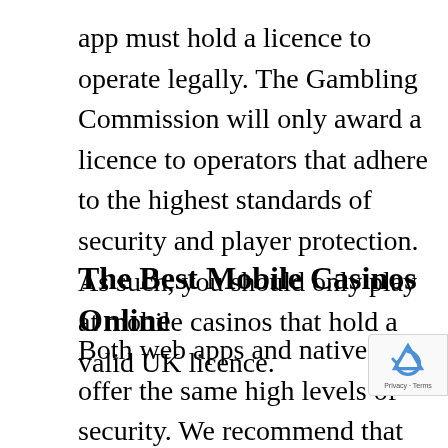app must hold a licence to operate legally. The Gambling Commission will only award a licence to operators that adhere to the highest standards of security and player protection. As such, you should only play at mobile casinos that hold a valid UK licence.
The Best Mobile Casinos Online
Both web apps and native apps offer the same high levels of security. We recommend that you do not autosave your casino password on your device. That way, if your phone is lost or sto... you can prevent anyone else using your cas... account. There are many casino apps, and some